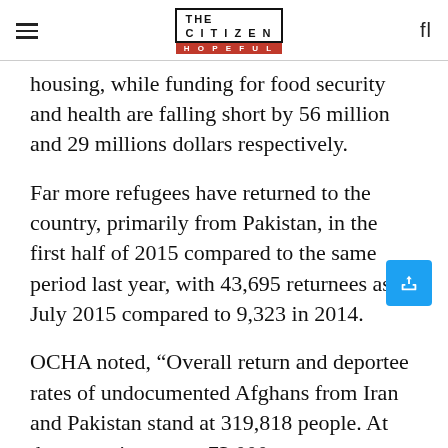THE CITIZEN IS HOPEFUL
housing, while funding for food security and health are falling short by 56 million and 29 millions dollars respectively.
Far more refugees have returned to the country, primarily from Pakistan, in the first half of 2015 compared to the same period last year, with 43,695 returnees as of July 2015 compared to 9,323 in 2014.
OCHA noted, “Overall return and deportee rates of undocumented Afghans from Iran and Pakistan stand at 319,818 people. At the same time, over 73,000